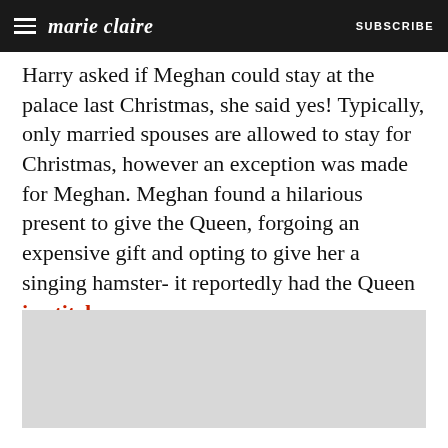marie claire | SUBSCRIBE
Harry asked if Meghan could stay at the palace last Christmas, she said yes! Typically, only married spouses are allowed to stay for Christmas, however an exception was made for Meghan. Meghan found a hilarious present to give the Queen, forgoing an expensive gift and opting to give her a singing hamster- it reportedly had the Queen in stitches.
[Figure (other): Gray advertisement placeholder block]